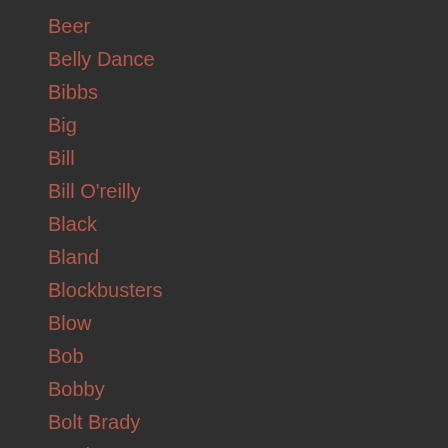Beer
Belly Dance
Bibbs
Big
Bill
Bill O'reilly
Black
Bland
Blockbusters
Blow
Bob
Bobby
Bolt Brady
Borden
Boy
Boys
Breaking Bad
Brick
Brock
Brown